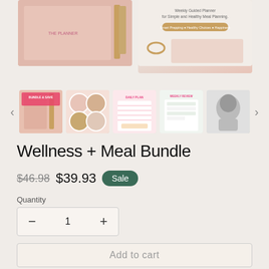[Figure (photo): Product photos of a pink wellness planner journal with gold accents, shown from front and open views]
[Figure (photo): Row of 5 product thumbnail images showing the planner from various angles, with navigation arrows on each side]
Wellness + Meal Bundle
$46.98  $39.93  Sale
Quantity
- 1 +
Add to cart